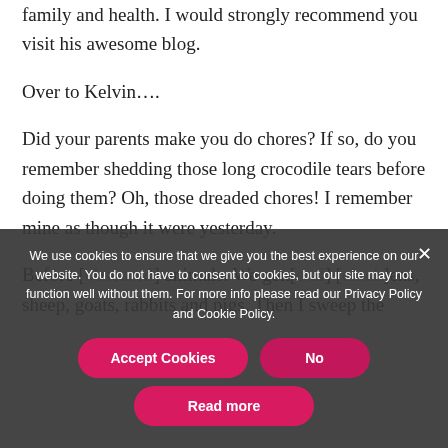family and health. I would strongly recommend you visit his awesome blog.
Over to Kelvin….
Did your parents make you do chores? If so, do you remember shedding those long crocodile tears before doing them? Oh, those dreaded chores! I remember mine as though it were yesterday.
Before [obscured by cookie overlay] animals. We gen[eral] [chick]ens, sheep, goats, rabbits and pigs. Then I sweep the
We use cookies to ensure that we give you the best experience on our website. You do not have to consent to cookies, but our site may not function well without them. For more info please read our Privacy Policy and Cookie Policy.